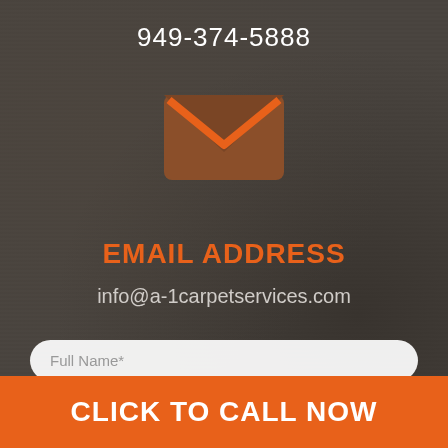949-374-5888
[Figure (illustration): Brown envelope icon with orange chevron/V shape on front]
EMAIL ADDRESS
info@a-1carpetservices.com
Full Name*
Phone Number*
CLICK TO CALL NOW